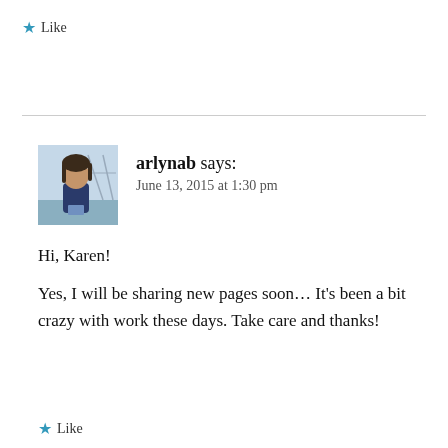★ Like
[Figure (photo): Profile photo of arlynab, a woman with dark hair sitting outdoors near water with a bridge in the background]
arlynab says:
June 13, 2015 at 1:30 pm
Hi, Karen!

Yes, I will be sharing new pages soon… It's been a bit crazy with work these days. Take care and thanks!
★ Like